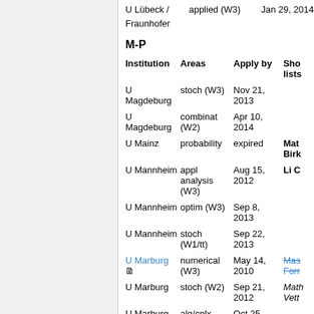U Lübeck / Fraunhofer    applied (W3)    Jan 29, 2014
M-P
| Institution | Areas | Apply by | Sho lists |
| --- | --- | --- | --- |
| U Magdeburg | stoch (W3) | Nov 21, 2013 |  |
| U Magdeburg | combinat (W2) | Apr 10, 2014 |  |
| U Mainz | probability | expired | Mat Birk |
| U Mannheim | appl analysis (W3) | Aug 15, 2012 | Li C |
| U Mannheim | optim (W3) | Sep 8, 2013 |  |
| U Mannheim | stoch (W1/tt) | Sep 22, 2013 |  |
| U Marburg [link] | numerical (W3) | May 14, 2010 | Mas Forr |
| U Marburg | stoch (W2) | Sep 21, 2012 | Math Vett |
| U Marburg | alg/cplx geom (W3) | Oct 25, 2013 |  |